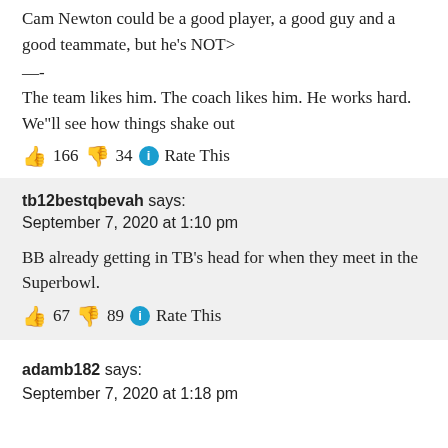Cam Newton could be a good player, a good guy and a good teammate, but he's NOT>
—-
The team likes him. The coach likes him. He works hard. We"ll see how things shake out
👍 166 👎 34 ℹ Rate This
tb12bestqbevah says:
September 7, 2020 at 1:10 pm
BB already getting in TB's head for when they meet in the Superbowl.
👍 67 👎 89 ℹ Rate This
adamb182 says:
September 7, 2020 at 1:18 pm